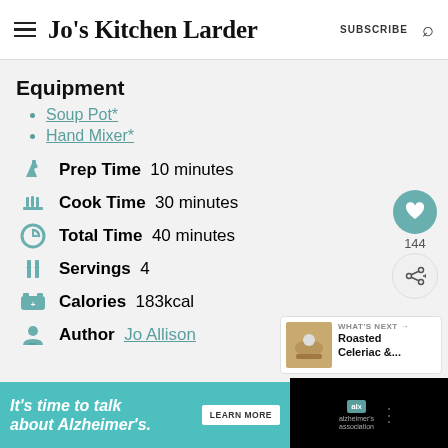Jo's Kitchen Larder  SUBSCRIBE
Equipment
Soup Pot*
Hand Mixer*
Prep Time  10 minutes
Cook Time  30 minutes
Total Time  40 minutes
Servings  4
Calories  183kcal
Author  Jo Allison
[Figure (screenshot): Advertisement banner: It's time to talk about Alzheimer's. Learn More. alzheimer's association logo.]
WHAT'S NEXT → Roasted Celeriac &...